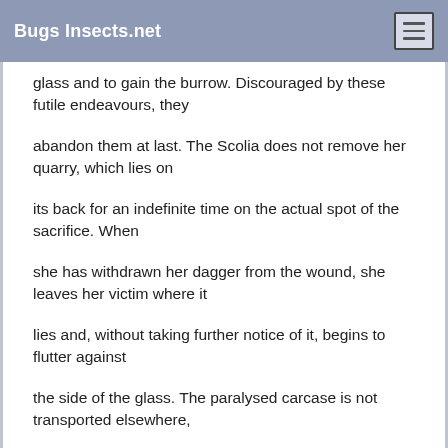Bugs Insects.net
glass and to gain the burrow. Discouraged by these futile endeavours, they
abandon them at last. The Scolia does not remove her quarry, which lies on
its back for an indefinite time on the actual spot of the sacrifice. When
she has withdrawn her dagger from the wound, she leaves her victim where it
lies and, without taking further notice of it, begins to flutter against
the side of the glass. The paralysed carcase is not transported elsewhere,